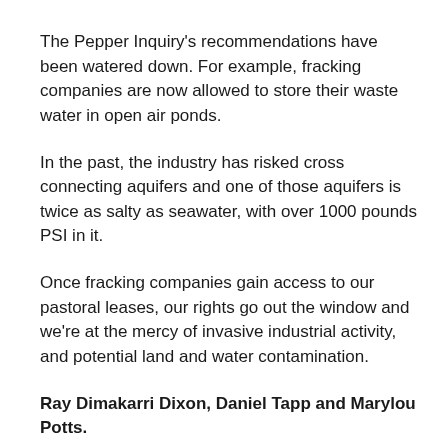The Pepper Inquiry's recommendations have been watered down. For example, fracking companies are now allowed to store their waste water in open air ponds.
In the past, the industry has risked cross connecting aquifers and one of those aquifers is twice as salty as seawater, with over 1000 pounds PSI in it.
Once fracking companies gain access to our pastoral leases, our rights go out the window and we're at the mercy of invasive industrial activity, and potential land and water contamination.
Ray Dimakarri Dixon, Daniel Tapp and Marylou Potts.